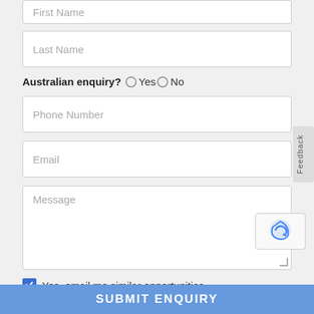[Figure (screenshot): Web form showing input fields for Last Name, Australian enquiry radio buttons (Yes/No), Phone Number, Email, Message textarea, a checked checkbox for email opt-in, a Submit Enquiry button, a Feedback tab on the right side, and a reCAPTCHA badge. A blue footer bar at the bottom reads SUBMIT ENQUIRY.]
SUBMIT ENQUIRY